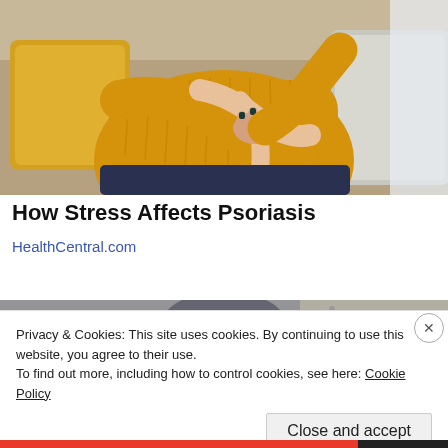[Figure (photo): Woman in yellow knit sweater sitting on a couch, holding and squeezing her arm/elbow with both hands, with dark painted nails, yellow and grey pillows behind her.]
How Stress Affects Psoriasis
HealthCentral.com
[Figure (photo): Partial view of a second article image, partially obscured by cookie banner.]
Privacy & Cookies: This site uses cookies. By continuing to use this website, you agree to their use.
To find out more, including how to control cookies, see here: Cookie Policy
Close and accept